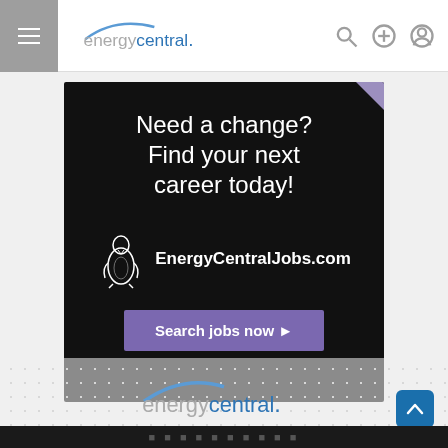energycentral. [navigation bar with hamburger menu, logo, search, add, and profile icons]
[Figure (infographic): Black background advertisement banner for EnergyCentralJobs.com. Text reads: 'Need a change? Find your next career today!' with a penguin logo and 'EnergyCentralJobs.com' branding. A purple 'Search jobs now ▶' button appears at the bottom.]
[Figure (logo): energycentral. logo in blue and gray on dotted background at the bottom of the page, with a scroll-to-top arrow button in blue at the lower right.]